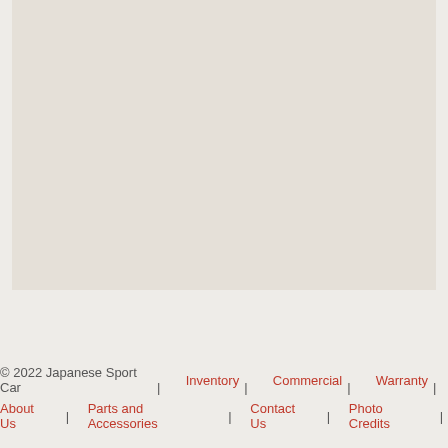[Figure (map): A light grey map area representing an embedded Google Maps view]
Get Directions on Google Maps
© 2022 Japanese Sport Car | Inventory | Commercial | Warranty | About Us | Parts and Accessories | Contact Us | Photo Credits |